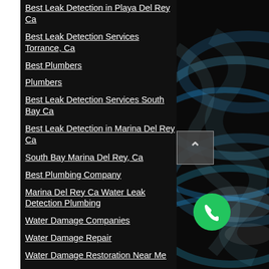Best Leak Detection in Playa Del Rey Ca
Best Leak Detection Services Torrance, Ca
Best Plumbers
Plumbers
Best Leak Detection Services South Bay Ca
Best Leak Detection in Marina Del Rey Ca
South Bay Marina Del Rey, Ca
Best Plumbing Company
Marina Del Rey Ca Water Leak Detection Plumbing
Water Damage Companies
Water Damage Repair
Water Damage Restoration Near Me
Water Damage Restoration Near Marina Del Rey Ca
Water Damage Restoration Marina Del...